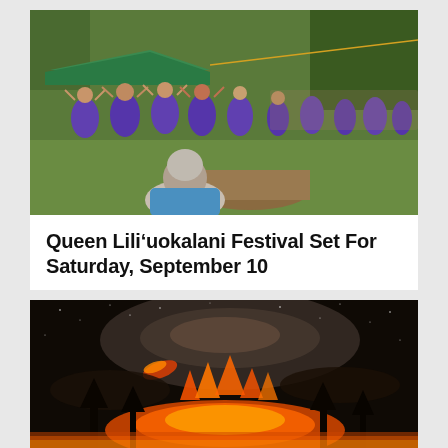[Figure (photo): Group of hula dancers in purple dresses performing outdoors on grass, with a seated spectator in the foreground and trees in the background]
Queen Lili‘uokalani Festival Set For Saturday, September 10
[Figure (photo): Night sky with Milky Way galaxy visible above a fiery volcanic eruption or lava flow, with silhouetted trees in the foreground]